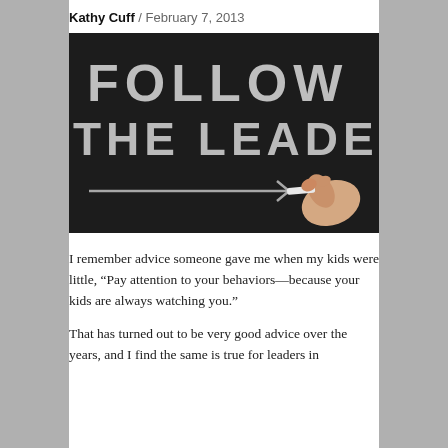Kathy Cuff / February 7, 2013
[Figure (photo): A blackboard with chalk writing reading 'FOLLOW THE LEADER' and a chalk-drawn arrow pointing right, with a hand holding chalk drawing the arrow.]
I remember advice someone gave me when my kids were little, “Pay attention to your behaviors—because your kids are always watching you.”
That has turned out to be very good advice over the years, and I find the same is true for leaders in